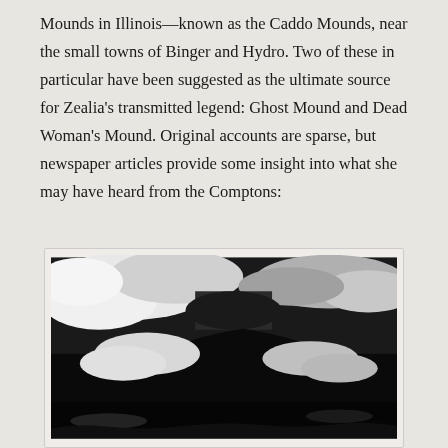Mounds in Illinois—known as the Caddo Mounds, near the small towns of Binger and Hydro. Two of these in particular have been suggested as the ultimate source for Zealia's transmitted legend: Ghost Mound and Dead Woman's Mound. Original accounts are sparse, but newspaper articles provide some insight into what she may have heard from the Comptons:
[Figure (photo): High contrast black and white photograph showing a dark mound or hill silhouette against a dramatic sky with clouds. The image is heavily contrasted with deep black shadows in the foreground and white cloud formations above.]